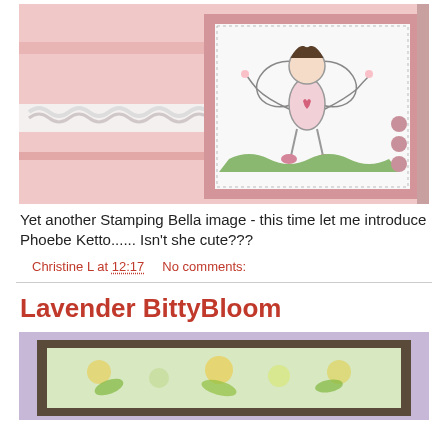[Figure (photo): A handmade greeting card with a pink background featuring a fairy girl (Phoebe Ketto) stamped image on white panel with pink mat and pink buttons, plus white ruffled ribbon trim]
Yet another Stamping Bella image - this time let me introduce Phoebe Ketto...... Isn't she cute???
Christine L at 12:17    No comments:
Lavender BittyBloom
[Figure (photo): Partial view of another handmade card with lavender/purple background, partially cropped at bottom of page]